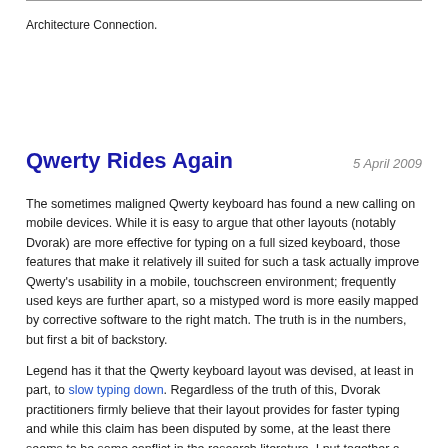Architecture Connection.
Qwerty Rides Again
5 April 2009
The sometimes maligned Qwerty keyboard has found a new calling on mobile devices. While it is easy to argue that other layouts (notably Dvorak) are more effective for typing on a full sized keyboard, those features that make it relatively ill suited for such a task actually improve Qwerty’s usability in a mobile, touchscreen environment; frequently used keys are further apart, so a mistyped word is more easily mapped by corrective software to the right match. The truth is in the numbers, but first a bit of backstory.
Legend has it that the Qwerty keyboard layout was devised, at least in part, to slow typing down. Regardless of the truth of this, Dvorak practitioners firmly believe that their layout provides for faster typing and while this claim has been disputed by some, at the least there seems to be some conflict in the research literature. I put together a program to